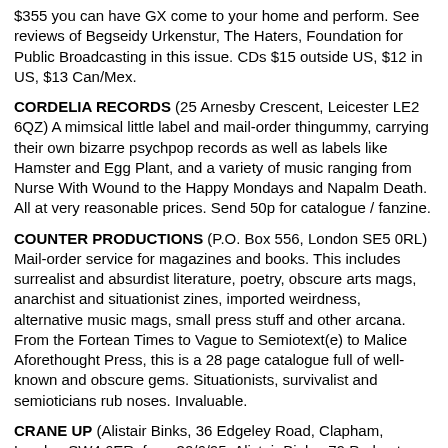$355 you can have GX come to your home and perform. See reviews of Begseidy Urkenstur, The Haters, Foundation for Public Broadcasting in this issue. CDs $15 outside US, $12 in US, $13 Can/Mex.
CORDELIA RECORDS (25 Arnesby Crescent, Leicester LE2 6QZ) A mimsical little label and mail-order thingummy, carrying their own bizarre psychpop records as well as labels like Hamster and Egg Plant, and a variety of music ranging from Nurse With Wound to the Happy Mondays and Napalm Death. All at very reasonable prices. Send 50p for catalogue / fanzine.
COUNTER PRODUCTIONS (P.O. Box 556, London SE5 0RL) Mail-order service for magazines and books. This includes surrealist and absurdist literature, poetry, obscure arts mags, anarchist and situationist zines, imported weirdness, alternative music mags, small press stuff and other arcana. From the Fortean Times to Vague to Semiotext(e) to Malice Aforethought Press, this is a 28 page catalogue full of well-known and obscure gems. Situationists, survivalist and semioticians rub noses. Invaluable.
CRANE UP (Alistair Binks, 36 Edgeley Road, Clapham, London SW4 6ER; from 30/6/95: Alistair Binks, 79 Parkgate Road, Chester, Cheshire SH1 4AQ) Small post-industrial cassette label. Has available a compilation tape featuring Zoskia, Endura, Herb Mullin, OM Art Foundation and others. Also a tape by Deleted (see review in EST 6) and other forthcoming compilations.
CTI MAIL ORDER (BM CTI, London WC1N 3XX) If you find it